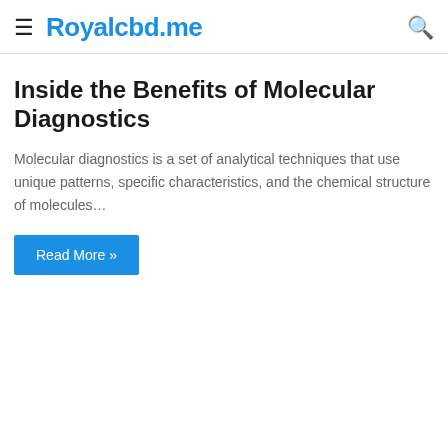Royalcbd.me
Inside the Benefits of Molecular Diagnostics
Molecular diagnostics is a set of analytical techniques that use unique patterns, specific characteristics, and the chemical structure of molecules…
Read More »